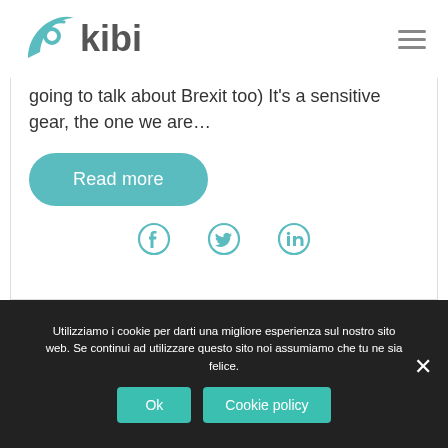[Figure (logo): Kibi logo with teal stylized leaf/wave icon and 'kibi' text in dark gray]
going to talk about Brexit too) It's a sensitive gear, the one we are…
Read more
[Figure (other): Social share icons: Facebook, Twitter, LinkedIn in teal]
Utilizziamo i cookie per darti una migliore esperienza sul nostro sito web. Se continui ad utilizzare questo sito noi assumiamo che tu ne sia felice.
Ok
Cookie policy